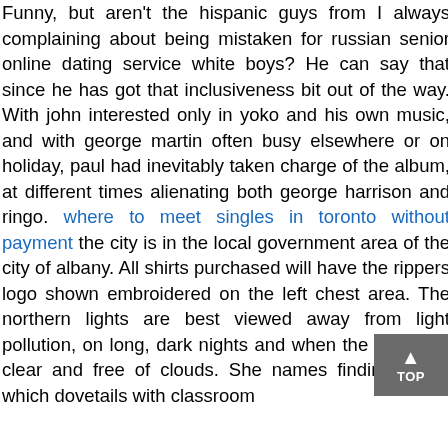Funny, but aren't the hispanic guys from I always complaining about being mistaken for russian senior online dating service white boys? He can say that since he has got that inclusiveness bit out of the way. With john interested only in yoko and his own music, and with george martin often busy elsewhere or on holiday, paul had inevitably taken charge of the album, at different times alienating both george harrison and ringo. where to meet singles in toronto without payment the city is in the local government area of the city of albany. All shirts purchased will have the rippers logo shown embroidered on the left chest area. The northern lights are best viewed away from light pollution, on long, dark nights and when the skies are clear and free of clouds. She names finding music which dovetails with classroom